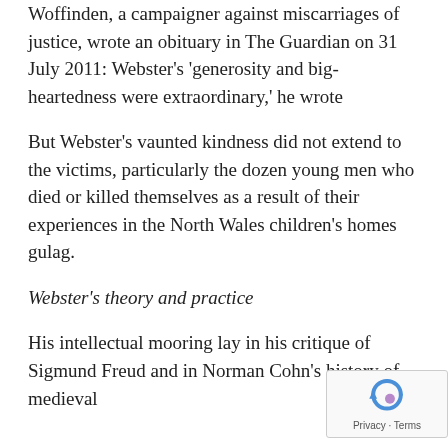Woffinden, a campaigner against miscarriages of justice, wrote an obituary in The Guardian on 31 July 2011: Webster's 'generosity and big-heartedness were extraordinary,' he wrote
But Webster's vaunted kindness did not extend to the victims, particularly the dozen young men who died or killed themselves as a result of their experiences in the North Wales children's homes gulag.
Webster's theory and practice
His intellectual mooring lay in his critique of Sigmund Freud and in Norman Cohn's history of medieval
[Figure (other): reCAPTCHA widget showing a circular arrow icon and 'Privacy - Terms' text label]